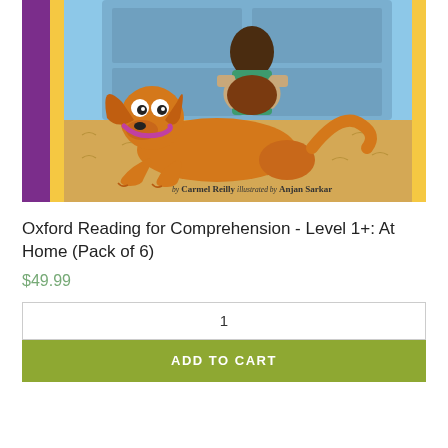[Figure (illustration): Book cover of 'Oxford Reading for Comprehension - Level 1+: At Home (Pack of 6)'. Shows a cartoon orange dog lying on a sandy floor in front of a blue door, with a child in a green top hugging a brown dog behind. Purple spine on the left, yellow accents. Text at bottom: 'by Carmel Reilly  illustrated by Anjan Sarkar'.]
Oxford Reading for Comprehension - Level 1+: At Home (Pack of 6)
$49.99
1
ADD TO CART